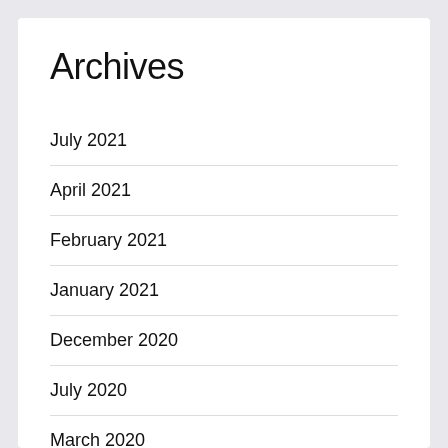Archives
July 2021
April 2021
February 2021
January 2021
December 2020
July 2020
March 2020
March 2019